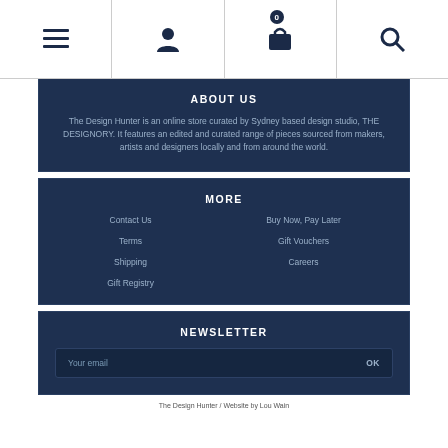Navigation bar with menu, account, cart (0), and search icons
ABOUT US
The Design Hunter is an online store curated by Sydney based design studio, THE DESIGNORY. It features an edited and curated range of pieces sourced from makers, artists and designers locally and from around the world.
MORE
Contact Us
Buy Now, Pay Later
Terms
Gift Vouchers
Shipping
Careers
Gift Registry
NEWSLETTER
Your email
The Design Hunter / Website by Lou Wain